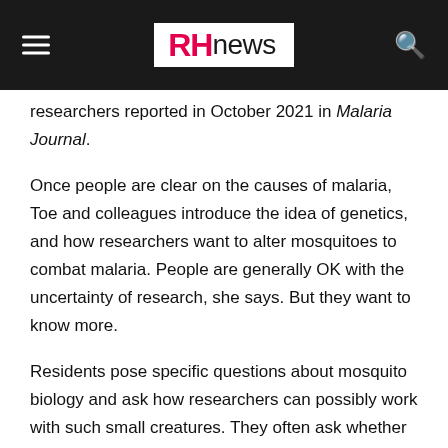RHnews
researchers reported in October 2021 in Malaria Journal.
Once people are clear on the causes of malaria, Toe and colleagues introduce the idea of genetics, and how researchers want to alter mosquitoes to combat malaria. People are generally OK with the uncertainty of research, she says. But they want to know more.
Residents pose specific questions about mosquito biology and ask how researchers can possibly work with such small creatures. They often ask whether the genetic alterations that make the mosquitoes sterile will transfer to humans. People “love the details,” Toe says.
Sometimes, creative approaches are needed to get concepts across. For instance, Target Malaria planned a first stage